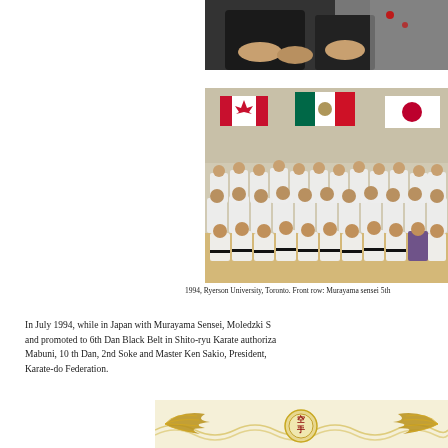[Figure (photo): Close-up photo of people's hands, partial view of individuals at a gathering or ceremony]
[Figure (photo): Group photo at Ryerson University, Toronto, 1994. Large group in white karate uniforms seated and standing in rows, with Canadian, Mexican, and Japanese flags on wall behind them.]
1994, Ryerson University, Toronto. Front row: Murayama sensei 5th
In July 1994, while in Japan with Murayama Sensei, Moledzki S and promoted to 6th Dan Black Belt in Shito-ryu Karate authoriza Mabuni, 10 th Dan, 2nd Soke and Master Ken Sakio, President, Karate-do Federation.
[Figure (photo): Partial view of a certificate or official document with golden eagle wings design and circular emblem in the center]